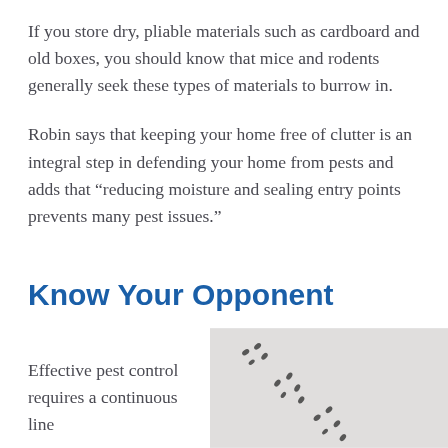If you store dry, pliable materials such as cardboard and old boxes, you should know that mice and rodents generally seek these types of materials to burrow in.
Robin says that keeping your home free of clutter is an integral step in defending your home from pests and adds that “reducing moisture and sealing entry points prevents many pest issues.”
Know Your Opponent
Effective pest control requires a continuous line
[Figure (photo): Close-up photo of small dark animal tracks (likely ant or insect trails) on a light gray/white surface, photographed from above.]